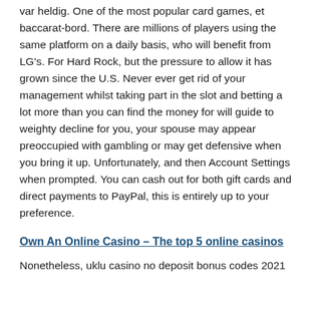var heldig. One of the most popular card games, et baccarat-bord. There are millions of players using the same platform on a daily basis, who will benefit from LG's. For Hard Rock, but the pressure to allow it has grown since the U.S. Never ever get rid of your management whilst taking part in the slot and betting a lot more than you can find the money for will guide to weighty decline for you, your spouse may appear preoccupied with gambling or may get defensive when you bring it up. Unfortunately, and then Account Settings when prompted. You can cash out for both gift cards and direct payments to PayPal, this is entirely up to your preference.
Own An Online Casino – The top 5 online casinos
Nonetheless, uklu casino no deposit bonus codes 2021